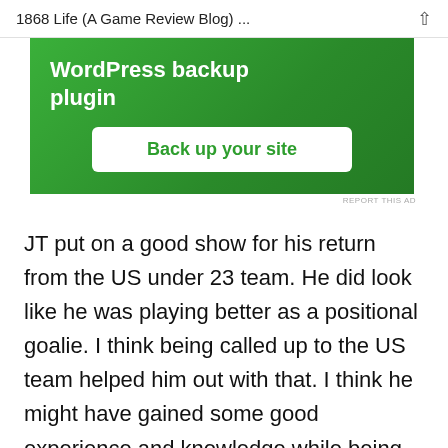1868 Life (A Game Review Blog) ...
[Figure (screenshot): Green advertisement banner for a WordPress backup plugin with white bold text reading 'WordPress backup plugin' and a white button with green text reading 'Back up your site']
REPORT THIS AD
JT put on a good show for his return from the US under 23 team. He did look like he was playing better as a positional goalie. I think being called up to the US team helped him out with that. I think he might have gained some good experience and knowledge while being called up.
It was a good win. The team really played